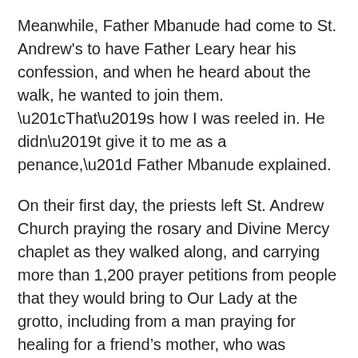Meanwhile, Father Mbanude had come to St. Andrew's to have Father Leary hear his confession, and when he heard about the walk, he wanted to join them. “That’s how I was reeled in. He didn’t give it to me as a penance,” Father Mbanude explained.
On their first day, the priests left St. Andrew Church praying the rosary and Divine Mercy chaplet as they walked along, and carrying more than 1,200 prayer petitions from people that they would bring to Our Lady at the grotto, including from a man praying for healing for a friend’s mother, who was suffering from COVID-19 and was hooked up to a breathing tube.
They prayed for those suffering from the virus and for their